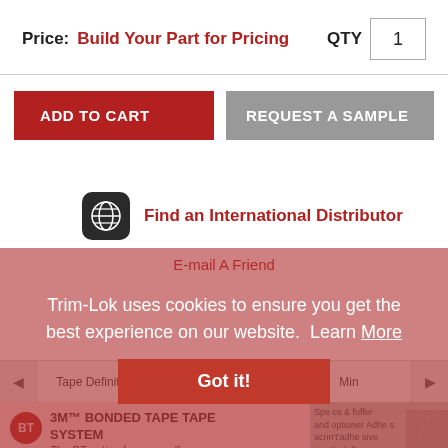Price: Build Your Part for Pricing   QTY  1
ADD TO CART
REQUEST A SAMPLE
[Figure (illustration): Globe icon — dark rounded square with white globe/grid symbol]
Find an International Distributor
E-mail A Friend
Trim-Lok uses cookies to ensure you get the best experience on our website. Learn More
Got it!
Tape Definitions   Specs & Options   Min
BT  3M™ BONDED TAPE SYSTEM
The BT option for your self
[Figure (photo): Small thumbnail image of red/black bonded tape cross-section]